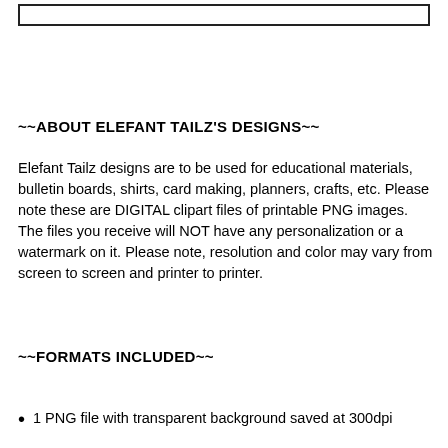[Figure (other): Empty rectangular box at top of page]
~~ABOUT ELEFANT TAILZ'S DESIGNS~~
Elefant Tailz designs are to be used for educational materials, bulletin boards, shirts, card making, planners, crafts, etc. Please note these are DIGITAL clipart files of printable PNG images. The files you receive will NOT have any personalization or a watermark on it. Please note, resolution and color may vary from screen to screen and printer to printer.
~~FORMATS INCLUDED~~
1 PNG file with transparent background saved at 300dpi